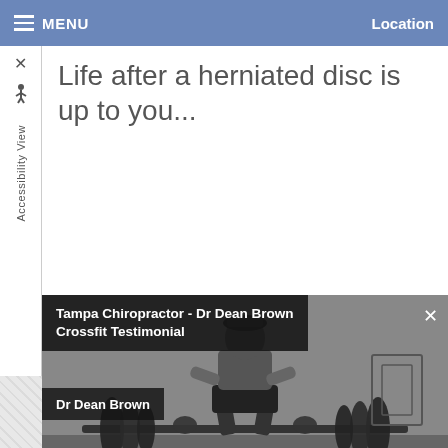MENU    Location
Life after a herniated disc is up to you...
[Figure (screenshot): Video thumbnail showing a person performing a deadlift with heavy weights in a gym, black and white photo. Overlay shows title 'Tampa Chiropractor - Dr Dean Brown Crossfit Testimonial' and label 'Dr Dean Brown'.]